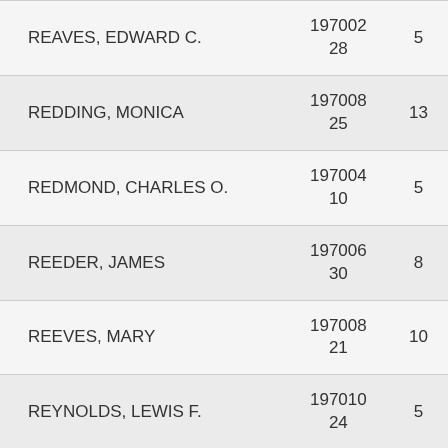| Name | Number | Value |
| --- | --- | --- |
| REAVES, EDWARD C. | 197002
28 | 5 |
| REDDING, MONICA | 197008
25 | 13 |
| REDMOND, CHARLES O. | 197004
10 | 5 |
| REEDER, JAMES | 197006
30 | 8 |
| REEVES, MARY | 197008
21 | 10 |
| REYNOLDS, LEWIS F. | 197010
24 | 5 |
| RHODES, ELIZABETH | 197006
22 | 7 |